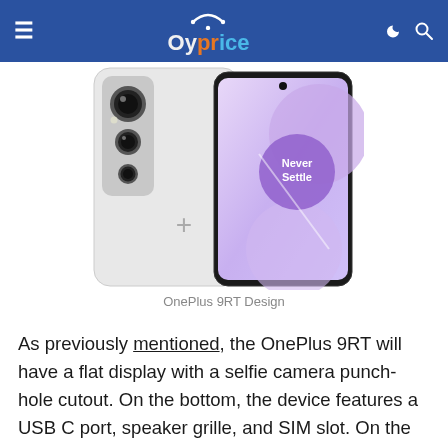≡  Oyprice  🌙 🔍
[Figure (photo): OnePlus 9RT smartphone shown from the back and front side by side. The back is silver/white with a triple camera module on the upper left. The front display shows a purple wallpaper with 'Never Settle' text in a circle. The OnePlus logo (+) is visible on the back.]
OnePlus 9RT Design
As previously mentioned, the OnePlus 9RT will have a flat display with a selfie camera punch-hole cutout. On the bottom, the device features a USB C port, speaker grille, and SIM slot. On the right side, we can sport the power button and alert slider.